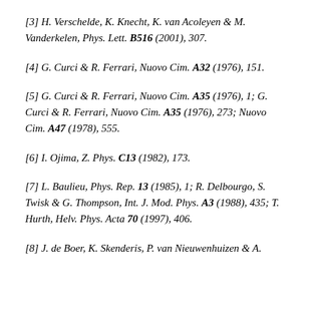[3] H. Verschelde, K. Knecht, K. van Acoleyen & M. Vanderkelen, Phys. Lett. B516 (2001), 307.
[4] G. Curci & R. Ferrari, Nuovo Cim. A32 (1976), 151.
[5] G. Curci & R. Ferrari, Nuovo Cim. A35 (1976), 1; G. Curci & R. Ferrari, Nuovo Cim. A35 (1976), 273; Nuovo Cim. A47 (1978), 555.
[6] I. Ojima, Z. Phys. C13 (1982), 173.
[7] L. Baulieu, Phys. Rep. 13 (1985), 1; R. Delbourgo, S. Twisk & G. Thompson, Int. J. Mod. Phys. A3 (1988), 435; T. Hurth, Helv. Phys. Acta 70 (1997), 406.
[8] J. de Boer, K. Skenderis, P. van Nieuwenhuizen & A.